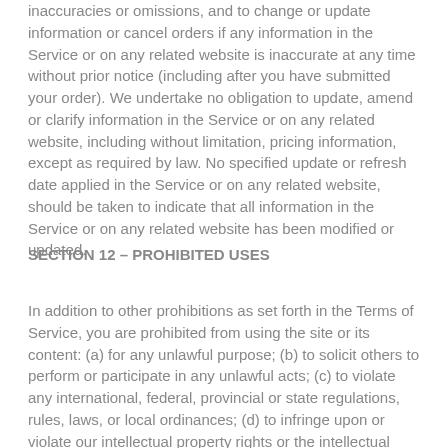inaccuracies or omissions, and to change or update information or cancel orders if any information in the Service or on any related website is inaccurate at any time without prior notice (including after you have submitted your order). We undertake no obligation to update, amend or clarify information in the Service or on any related website, including without limitation, pricing information, except as required by law. No specified update or refresh date applied in the Service or on any related website, should be taken to indicate that all information in the Service or on any related website has been modified or updated.
SECTION 12 – PROHIBITED USES
In addition to other prohibitions as set forth in the Terms of Service, you are prohibited from using the site or its content: (a) for any unlawful purpose; (b) to solicit others to perform or participate in any unlawful acts; (c) to violate any international, federal, provincial or state regulations, rules, laws, or local ordinances; (d) to infringe upon or violate our intellectual property rights or the intellectual property rights of others; (e) to harass, abuse, insult, harm, defame, slander, disparage, intimidate, or discriminate based on gender, sexual orientation, religion, ethnicity, race, age, national origin, or